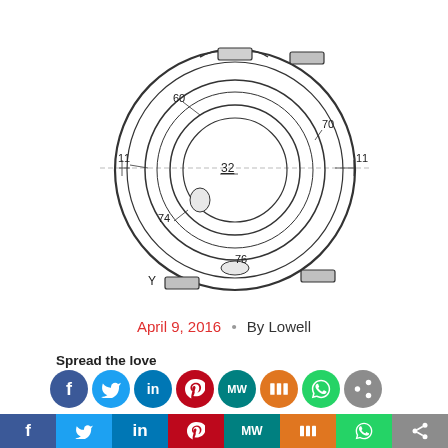[Figure (engineering-diagram): Patent engineering diagram showing a circular lens or ring component with concentric rings and labeled reference numerals: 11, 11, 32, 60, 70, 74, 76. A horizontal dashed centerline crosses the assembly. Labels Y at bottom-left. The outer ring has notched sections at top/bottom/left/right.]
April 9, 2016 · By Lowell
Spread the love
[Figure (infographic): Row of circular social media share icons: Facebook (blue), Twitter (blue), LinkedIn (dark blue), Pinterest (red), MeWe (teal), Mix (orange), WhatsApp (green), Share (gray)]
Developments that seek to create an evolution in
[Figure (infographic): Bottom bar with rectangular social media share buttons: Facebook, Twitter, LinkedIn, Pinterest, MeWe, Mix, WhatsApp, Share]